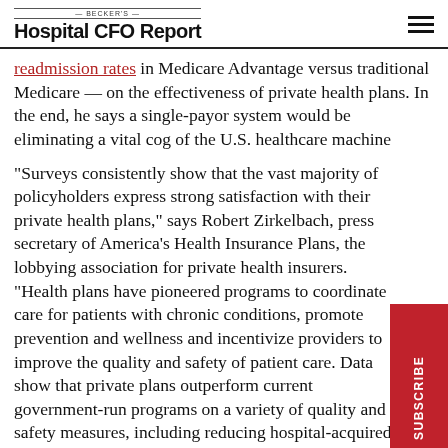BECKER'S Hospital CFO Report
readmission rates in Medicare Advantage versus traditional Medicare — on the effectiveness of private health plans. In the end, he says a single-payor system would be eliminating a vital cog of the U.S. healthcare machine
"Surveys consistently show that the vast majority of policyholders express strong satisfaction with their private health plans," says Robert Zirkelbach, press secretary of America's Health Insurance Plans, the lobbying association for private health insurers. "Health plans have pioneered programs to coordinate care for patients with chronic conditions, promote prevention and wellness and incentivize providers to improve the quality and safety of patient care. Data show that private plans outperform current government-run programs on a variety of quality and safety measures, including reducing hospital-acquired infections, never-events and preventable hospital readmissions."